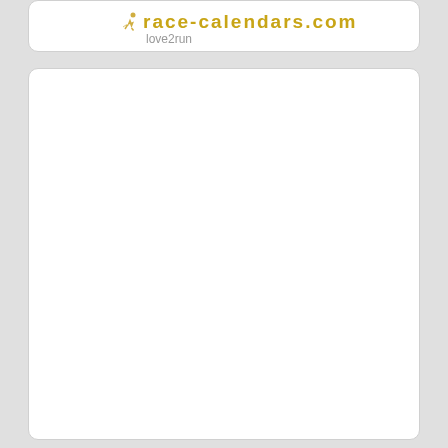[Figure (logo): love2run logo with runner icon and stylized golden URL text]
[Figure (other): Empty white card panel below the logo card]